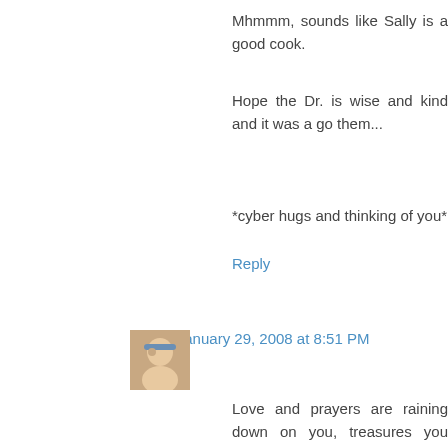Mhmmm, sounds like Sally is a good cook.
Hope the Dr. is wise and kind and it was a go them...
*cyber hugs and thinking of you*
Reply
Mary January 29, 2008 at 8:51 PM
Love and prayers are raining down on you, treasures you found in the mail and those fl exquisite.
Those hankies are lovely. I have a few that Gr child and I treasure them. I can hardly wait to se are so talented.